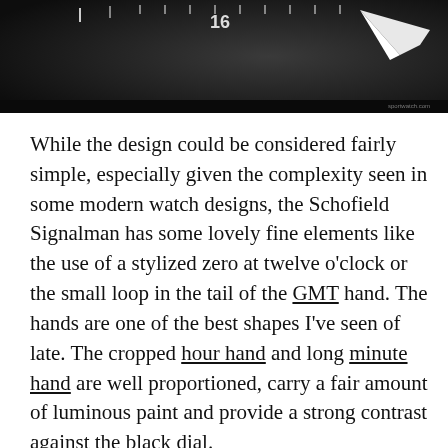[Figure (photo): Close-up photo of a dark watch dial showing hour markers, numerals (16 visible), minute track, and part of the watch hand against a black background.]
While the design could be considered fairly simple, especially given the complexity seen in some modern watch designs, the Schofield Signalman has some lovely fine elements like the use of a stylized zero at twelve o'clock or the small loop in the tail of the GMT hand. The hands are one of the best shapes I've seen of late. The cropped hour hand and long minute hand are well proportioned, carry a fair amount of luminous paint and provide a strong contrast against the black dial.
We use cookies on our website to give you the most relevant experience by remembering your preferences and repeat visits. By clicking “Accept”, you consent to the use of ALL the cookies.